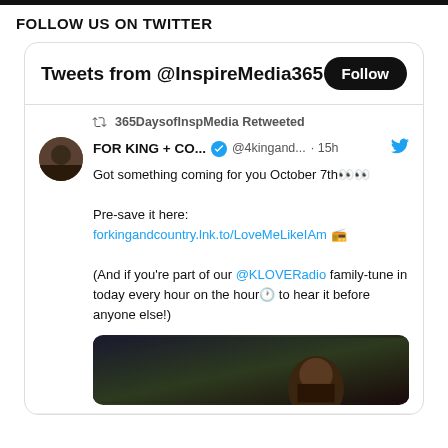FOLLOW US ON TWITTER
[Figure (screenshot): Twitter widget showing tweets from @InspireMedia365 with a Follow button, a retweet from FOR KING + CO... @4kingand... 15h, tweet text: Got something coming for you October 7th👀 Pre-save it here: forkingandcountry.lnk.to/LoveMeLikeIAm 📻 (And if you're part of our @KLOVERadio family- tune in today every hour on the hour🕐 to hear it before anyone else!) followed by a dark image]